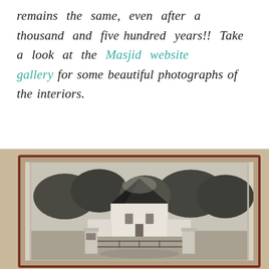remains the same, even after a thousand and five hundred years!! Take a look at the Masjid website gallery for some beautiful photographs of the interiors.
[Figure (photo): Old black and white photograph mounted on a card with a dark red/maroon border, showing a white mosque or masjid building with a dark conical/pyramid-shaped roof, surrounded by trees, with a gated entrance in the foreground featuring two white pillars and a wooden fence/gate.]